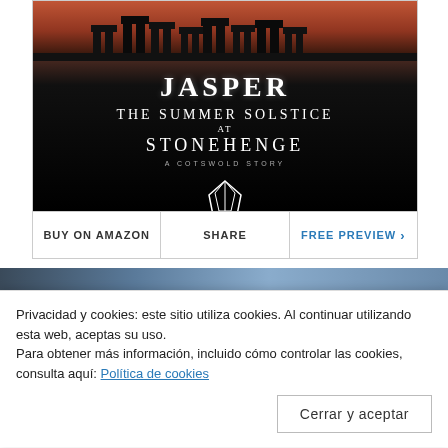[Figure (illustration): Book cover for 'Jasper: The Summer Solstice at Stonehenge – A Cotswold Story'. Dark background with Stonehenge silhouette against a reddish-orange sky at top. White serif text displays the title. A small geometric fox/animal logo appears at the bottom of the cover.]
BUY ON AMAZON | SHARE | FREE PREVIEW >
Privacidad y cookies: este sitio utiliza cookies. Al continuar utilizando esta web, aceptas su uso.
Para obtener más información, incluido cómo controlar las cookies, consulta aquí: Política de cookies
Cerrar y aceptar